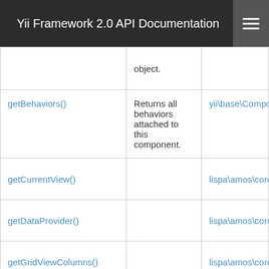Yii Framework 2.0 API Documentation
| Method | Description | Defined By |
| --- | --- | --- |
|  | object. |  |
| getBehaviors() | Returns all behaviors attached to this component. | yii\base\Component |
| getCurrentView() |  | lispa\amos\core\... |
| getDataProvider() |  | lispa\amos\core\... |
| getGridViewColumns() |  | lispa\amos\core\... |
| getModel() |  | lispa\amos\core\... |
| getModelClass() |  | lispa\amos\core\... |
| getModelClassName() |  | lispa\amos\core\... |
| getModelName() |  | lispa\amos\core\... |
| getModelObj() |  | lispa\amos\core\... |